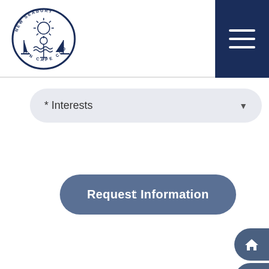[Figure (logo): New Seabury on Cape Cod circular emblem logo with sailboat, sun, and anchor motifs]
[Figure (other): Dark navy hamburger menu button (three horizontal white lines) in top right corner]
* Interests
[Figure (other): Request Information button, rounded rectangle, steel blue]
ABOUT US
AMENITIES
WEDDINGS & EVENTS
RESTAURANTS
REAL ESTATE
MEMBER LOGIN
GUEST ACCOMMODATIONS